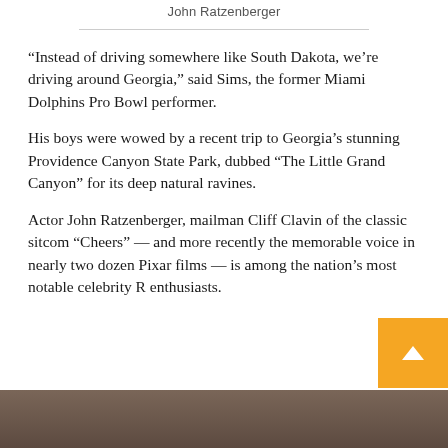John Ratzenberger
“Instead of driving somewhere like South Dakota, we’re driving around Georgia,” said Sims, the former Miami Dolphins Pro Bowl performer.
His boys were wowed by a recent trip to Georgia’s stunning Providence Canyon State Park, dubbed “The Little Grand Canyon” for its deep natural ravines.
Actor John Ratzenberger, mailman Cliff Clavin of the classic sitcom “Cheers” — and more recently the memorable voice in nearly two dozen Pixar films — is among the nation’s most notable celebrity R enthusiasts.
[Figure (photo): Bottom strip showing a photo partially visible at the bottom of the page]